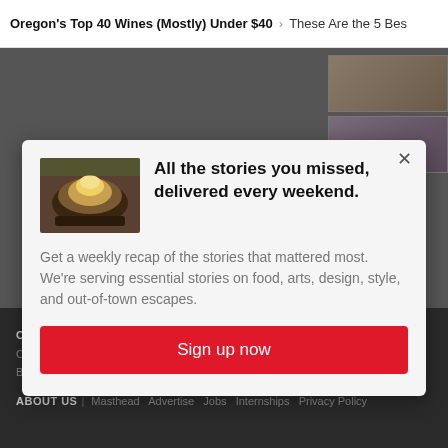Oregon's Top 40 Wines (Mostly) Under $40 > These Are the 5 Bes
[Figure (screenshot): Two small thumbnail images in the background on the right side]
All the stories you missed, delivered every weekend.
Get a weekly recap of the stories that mattered most. We're serving essential stories on food, arts, design, style, and out-of-town escapes.
Sign up now
CHANNELS | Eat & Drink Style & Shopping Art & Culture News & City Life Travel & Outdoors Home & Real Estate Health & Wellness Best of the City
ABOUT US | Masthead Advertise Jobs Internships Privacy Policy